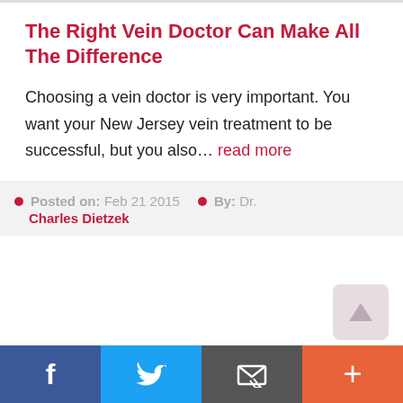The Right Vein Doctor Can Make All The Difference
Choosing a vein doctor is very important. You want your New Jersey vein treatment to be successful, but you also… read more
Posted on: Feb 21 2015  •  By: Dr. Charles Dietzek